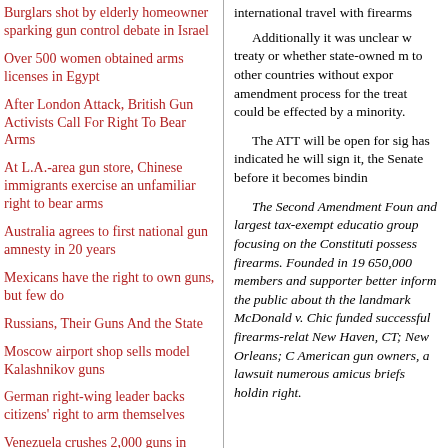Burglars shot by elderly homeowner sparking gun control debate in Israel
Over 500 women obtained arms licenses in Egypt
After London Attack, British Gun Activists Call For Right To Bear Arms
At L.A.-area gun store, Chinese immigrants exercise an unfamiliar right to bear arms
Australia agrees to first national gun amnesty in 20 years
Mexicans have the right to own guns, but few do
Russians, Their Guns And the State
Moscow airport shop sells model Kalashnikov guns
German right-wing leader backs citizens' right to arm themselves
Venezuela crushes 2,000 guns in
international travel with firearms
Additionally it was unclear w treaty or whether state-owned m to other countries without expor amendment process for the treat could be effected by a minority.
The ATT will be open for sig has indicated he will sign it, the Senate before it becomes bindin
The Second Amendment Foun and largest tax-exempt educatio group focusing on the Constituti possess firearms. Founded in 19 650,000 members and supporter better inform the public about th the landmark McDonald v. Chic funded successful firearms-relat New Haven, CT; New Orleans; C American gun owners, a lawsuit numerous amicus briefs holdin right.